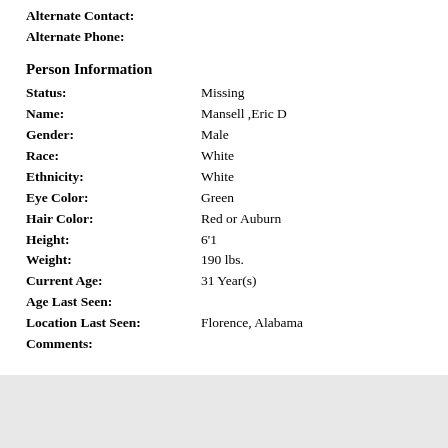Alternate Contact:
Alternate Phone:
Person Information
Status: Missing
Name: Mansell ,Eric D
Gender: Male
Race: White
Ethnicity: White
Eye Color: Green
Hair Color: Red or Auburn
Height: 6'1
Weight: 190 lbs.
Current Age: 31 Year(s)
Age Last Seen:
Location Last Seen: Florence, Alabama
Comments: